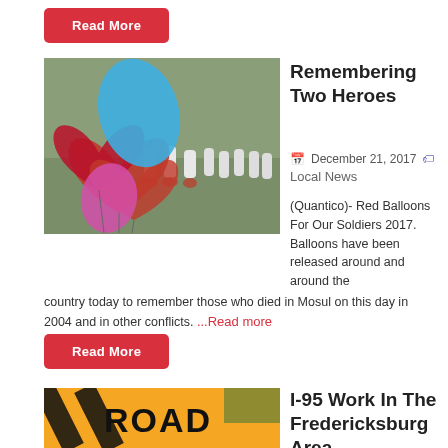Read More
[Figure (photo): Red and blue heart-shaped balloons placed among white grave markers with red wreaths at a military cemetery]
Remembering Two Heroes
December 21, 2017  Local News
(Quantico)- Red Balloons For Our Soldiers 2017. Balloons have been released around and around the country today to remember those who died in Mosul on this day in 2004 and in other conflicts. ...Read more
Read More
[Figure (photo): Orange road construction sign showing the word ROAD]
I-95 Work In The Fredericksburg Area